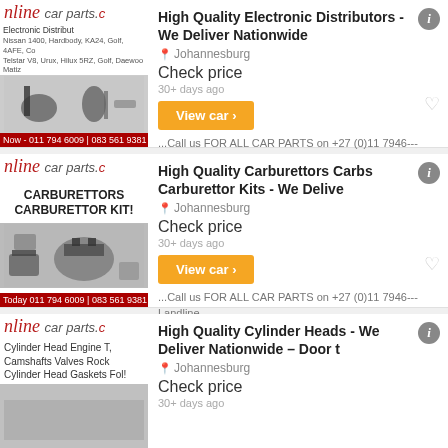[Figure (screenshot): Online Car Parts listing 1: Electronic Distributors ad image with parts photos]
High Quality Electronic Distributors - We Deliver Nationwide
Johannesburg
Check price
30+ days ago
View car >
...Call us FOR ALL CAR PARTS on +27 (0)11 7946--- Landline....
[Figure (screenshot): Online Car Parts listing 2: Carburettors Carburettor Kits ad image]
High Quality Carburettors Carbs Carburettor Kits - We Delive
Johannesburg
Check price
30+ days ago
View car >
...Call us FOR ALL CAR PARTS on +27 (0)11 7946--- Landline....
[Figure (screenshot): Online Car Parts listing 3: Cylinder Heads ad image]
High Quality Cylinder Heads - We Deliver Nationwide – Door t
Johannesburg
Check price
30+ days ago